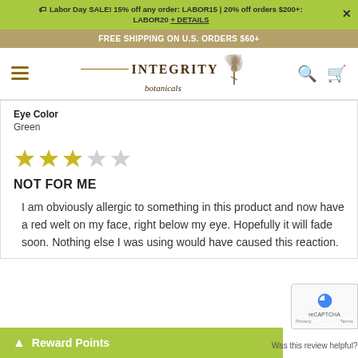🏷 Labor Day SALE! 15% off any order: LABOR15 | 20% off orders $200+: LABOR20 + DETAILS
FREE SHIPPING ON U.S. ORDERS $60+
[Figure (logo): Integrity Botanicals logo with decorative flower and italic script]
Eye Color
Green
[Figure (other): 3 out of 5 stars rating displayed as yellow/grey star icons]
NOT FOR ME
I am obviously allergic to something in this product and now have a red welt on my face, right below my eye. Hopefully it will fade soon. Nothing else I was using would have caused this reaction.
Was this review helpful?  👍 3  👎 0
▲ Reward Points